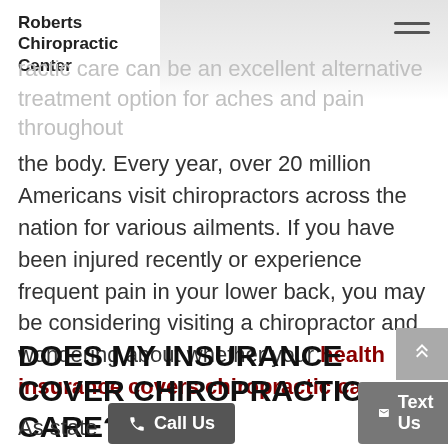Roberts Chiropractic Center
ractic care can be an excellent alternative treatment option for aches and pain throughout the body. Every year, over 20 million Americans visit chiropractors across the nation for various ailments. If you have been injured recently or experience frequent pain in your lower back, you may be considering visiting a chiropractor and wondering about whether your health insurance covers chiropractic care.
DOES MY INSURANCE COVER CHIROPRACTIC CARE?
As stated ng e is